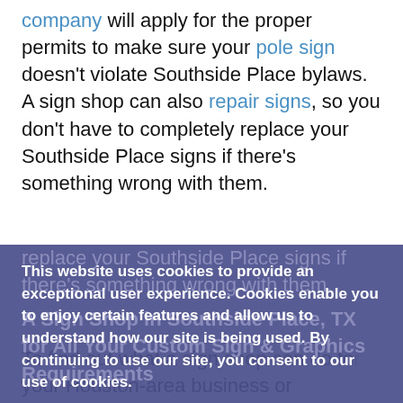company will apply for the proper permits to make sure your pole sign doesn't violate Southside Place bylaws. A sign shop can also repair signs, so you don't have to completely replace your Southside Place signs if there's something wrong with them.
This website uses cookies to provide an exceptional user experience. Cookies enable you to enjoy certain features and allow us to understand how our site is being used. By continuing to use our site, you consent to our use of cookies.
Read more
DECLINE
ACCEPT COOKIES
Southside Place, TX for All Your Custom Sign & Graphics Requirements
To find out what a sign shop can do for your Houston-area business or